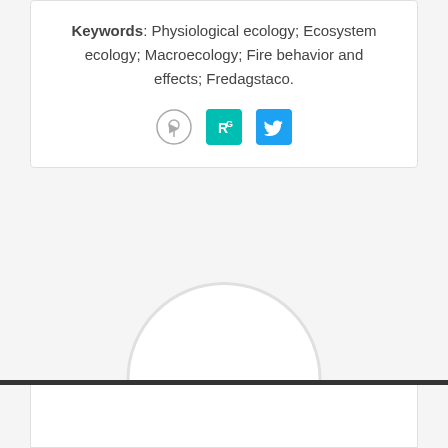Keywords: Physiological ecology; Ecosystem ecology; Macroecology; Fire behavior and effects; Fredagstaco.
[Figure (other): Social sharing icons: Mendeley (circular icon with person), ResearchGate (teal square with R superscript G), Twitter (blue square with bird logo)]
[Figure (other): Circular profile photo placeholder overlapping a horizontal dark separator bar, with a white card below]